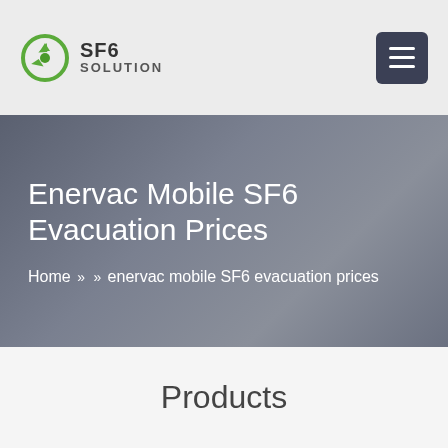SF6 SOLUTION
Enervac Mobile SF6 Evacuation Prices
Home » » enervac mobile SF6 evacuation prices
Products